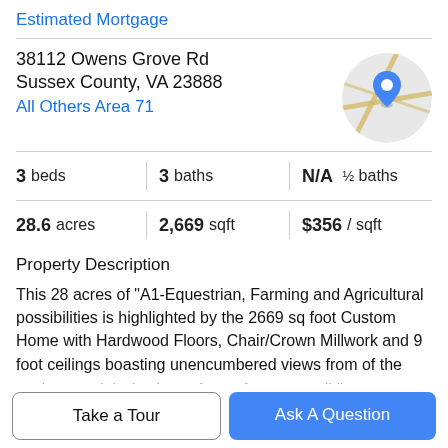Estimated Mortgage
38112 Owens Grove Rd
Sussex County, VA 23888
All Others Area 71
[Figure (map): Circular map thumbnail with a blue location pin marker and road lines in tan/yellow on a light grey background]
3 beds | 3 baths | N/A ½ baths
28.6 acres | 2,669 sqft | $356 / sqft
Property Description
This 28 acres of "A1-Equestrian, Farming and Agricultural possibilities is highlighted by the 2669 sq foot Custom Home with Hardwood Floors, Chair/Crown Millwork and 9 foot ceilings boasting unencumbered views from of the
outdoors and deck. The 42 ft x 60 ft Morton Building
Take a Tour
Ask A Question